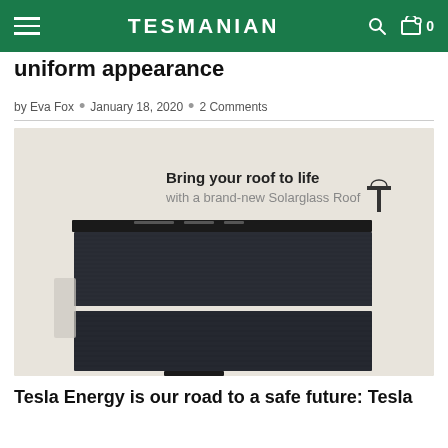TESMANIAN
uniform appearance
by Eva Fox • January 18, 2020 • 2 Comments
[Figure (photo): Tesla Solar Roof tiles displayed on a wall mount at a Tesla store or showroom, with text on the wall reading: 'Bring your roof to life with a brand-new Solarglass Roof' and Tesla logo]
Tesla Energy is our road to a safe future: Tesla